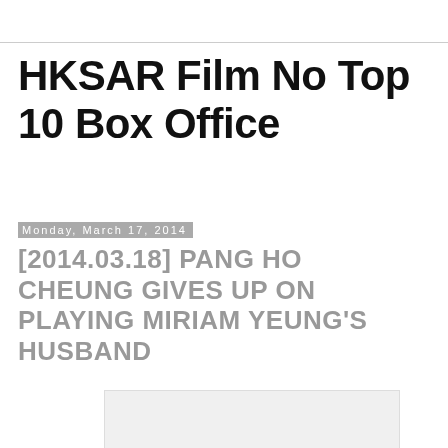HKSAR Film No Top 10 Box Office
Monday, March 17, 2014
[2014.03.18] PANG HO CHEUNG GIVES UP ON PLAYING MIRIAM YEUNG'S HUSBAND
[Figure (photo): Blank/placeholder image area]